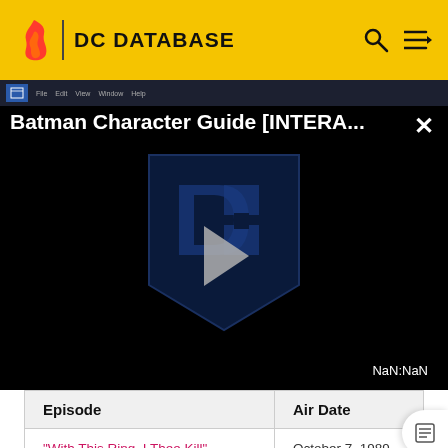DC DATABASE
[Figure (screenshot): Video player showing Batman Character Guide [INTERA...] with a DC Comics logo/shield and play button on dark background. Timestamp shows NaN:NaN.]
| Episode | Air Date |
| --- | --- |
| "With This Ring, I Thee Kill" | October 7, 1989 |
| "Lex Luthor: Sentenced to Death" | October 14, 1989 |
| "... | October ... |